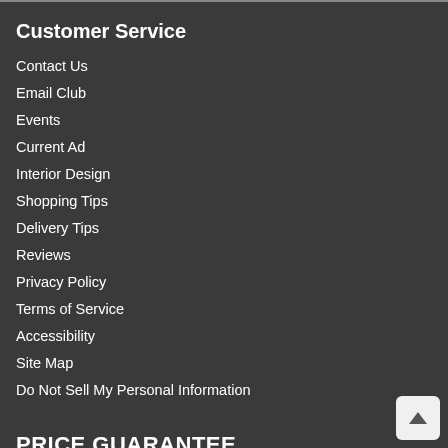Customer Service
Contact Us
Email Club
Events
Current Ad
Interior Design
Shopping Tips
Delivery Tips
Reviews
Privacy Policy
Terms of Service
Accessibility
Site Map
Do Not Sell My Personal Information
PRICE GUARANTEE
Michael's Furniture & Mattress proudly offers a Price Guarantee on all of our merchandise! We will do everything in our power to make